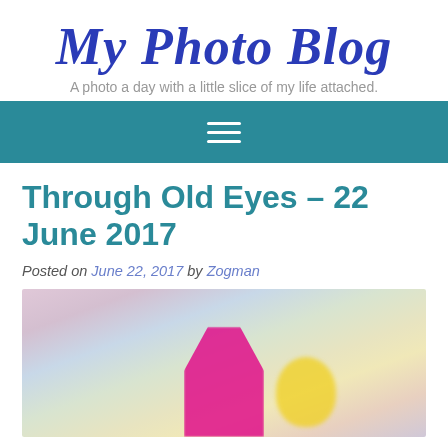My Photo Blog
A photo a day with a little slice of my life attached.
[Figure (screenshot): Navigation bar with hamburger menu icon (three horizontal lines) on teal/dark cyan background]
Through Old Eyes – 22 June 2017
Posted on June 22, 2017 by Zogman
[Figure (photo): Blurred colorful background with a bright pink/magenta flower petal in focus in the lower center, and a yellow object blurred to the right]